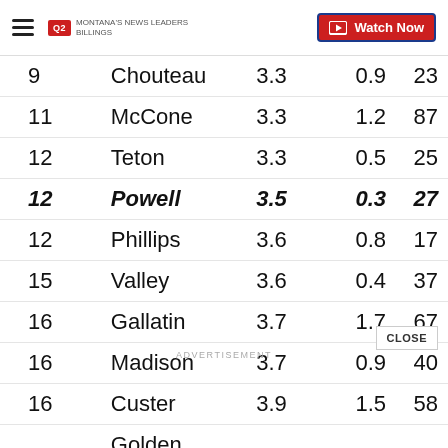Q2 Montana's News Leaders Billings | Watch Now
| Rank | County | Rate |  |  |
| --- | --- | --- | --- | --- |
| 9 | Chouteau | 3.3 | 0.9 | 23 |
| 11 | McCone | 3.3 | 1.2 | 87 |
| 12 | Teton | 3.3 | 0.5 | 25 |
| 12 | Powell | 3.5 | 0.3 | 27 |
| 12 | Phillips | 3.6 | 0.8 | 17 |
| 15 | Valley | 3.6 | 0.4 | 37 |
| 16 | Gallatin | 3.7 | 1.7 | 67 |
| 16 | Madison | 3.7 | 0.9 | 40 |
| 16 | Custer | 3.9 | 1.5 | 58 |
| 19 | Golden Valley | 3.9 | 0.1 | 4 |
| 20 | Lewis and Clark | 3.9 | 1.2 |  |